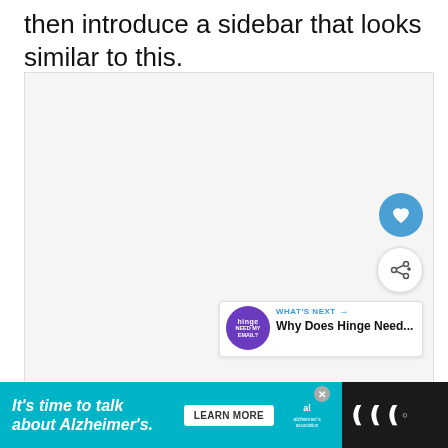then introduce a sidebar that looks similar to this.
[Figure (screenshot): A screenshot placeholder showing a sidebar UI with a heart/like button (blue circle), a share button (white circle with share icon), and a 'What's Next' panel showing a Hinge app article preview titled 'Why Does Hinge Need...']
[Figure (screenshot): Advertisement banner: 'It's time to talk about Alzheimer's.' with a Learn More button, Alzheimer's Association logo, and a brand icon on dark background.]